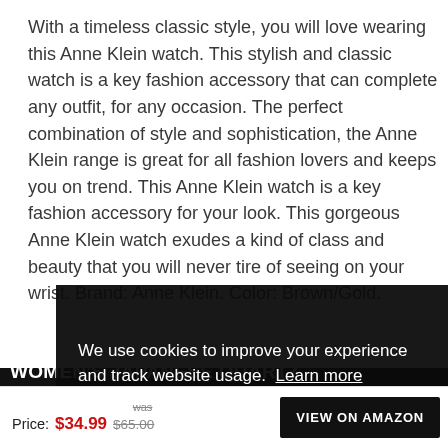With a timeless classic style, you will love wearing this Anne Klein watch. This stylish and classic watch is a key fashion accessory that can complete any outfit, for any occasion. The perfect combination of style and sophistication, the Anne Klein range is great for all fashion lovers and keeps you on trend. This Anne Klein watch is a key fashion accessory for your look. This gorgeous Anne Klein watch exudes a kind of class and beauty that you will never tire of seeing on your wrist. Brand: Anne Klein. Color: Brown/Gold.
[Figure (screenshot): Cookie consent modal overlay on dark background with text 'We use cookies to improve your experience and track website usage. Learn more' and a red 'Got it!' button]
FEATURES ANNE KLEIN WOMEN'S JAPANESE QUARTZ DRESS WATCH WITH FAUX LEATHER STRAP BROWN 14
Price: $34.99  was $65.00
VIEW ON AMAZON